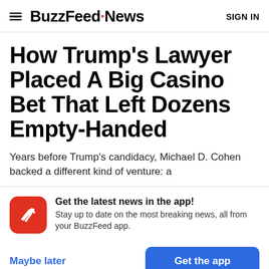BuzzFeed News  SIGN IN
How Trump's Lawyer Placed A Big Casino Bet That Left Dozens Empty-Handed
Years before Trump's candidacy, Michael D. Cohen backed a different kind of venture: a
Get the latest news in the app! Stay up to date on the most breaking news, all from your BuzzFeed app.
Maybe later
Get the app